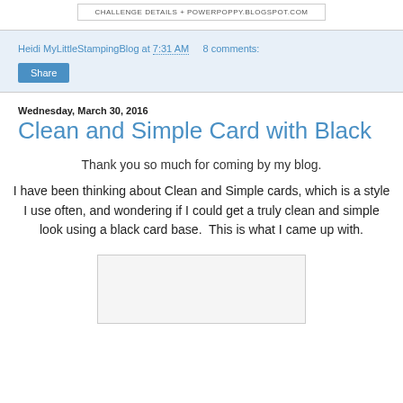[Figure (other): Challenge details banner: CHALLENGE DETAILS + powerpoppy.blogspot.com]
Heidi MyLittleStampingBlog at 7:31 AM    8 comments:
Share
Wednesday, March 30, 2016
Clean and Simple Card with Black
Thank you so much for coming by my blog.
I have been thinking about Clean and Simple cards, which is a style I use often, and wondering if I could get a truly clean and simple look using a black card base.  This is what I came up with.
[Figure (photo): Partially visible image placeholder at bottom of page]